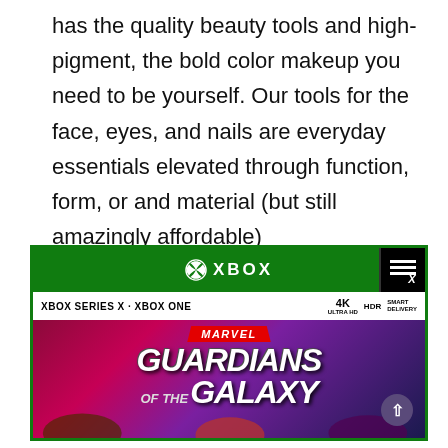has the quality beauty tools and high-pigment, the bold color makeup you need to be yourself. Our tools for the face, eyes, and nails are everyday essentials elevated through function, form, or and material (but still amazingly affordable)
[Figure (photo): Xbox game case for Marvel's Guardians of the Galaxy on Xbox Series X and Xbox One, showing the game cover art with characters and green Xbox branding bar at top]